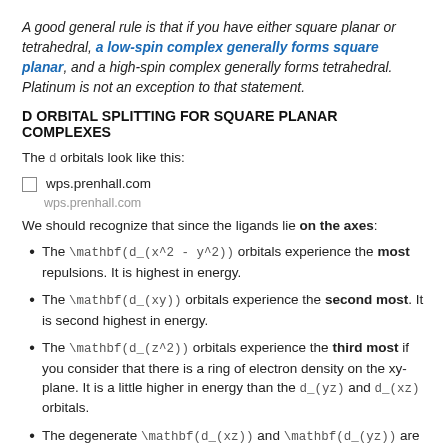A good general rule is that if you have either square planar or tetrahedral, a low-spin complex generally forms square planar, and a high-spin complex generally forms tetrahedral. Platinum is not an exception to that statement.
D ORBITAL SPLITTING FOR SQUARE PLANAR COMPLEXES
The d orbitals look like this:
wps.prenhall.com
wps.prenhall.com
We should recognize that since the ligands lie on the axes:
The \mathbf(d_(x^2 - y^2)) orbitals experience the most repulsions. It is highest in energy.
The \mathbf(d_(xy)) orbitals experience the second most. It is second highest in energy.
The \mathbf(d_(z^2)) orbitals experience the third most if you consider that there is a ring of electron density on the xy-plane. It is a little higher in energy than the d_(yz) and d_(xz) orbitals.
The degenerate \mathbf(d_(xz)) and \mathbf(d_(yz)) are off the plane of the ligands, so they have the lowest